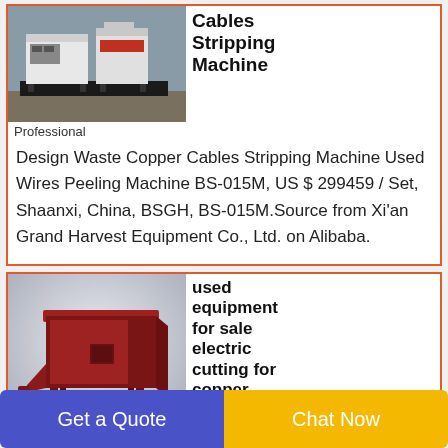[Figure (photo): Industrial white cable stripping machine on a black platform, outdoors]
Cables Stripping Machine
Professional Design Waste Copper Cables Stripping Machine Used Wires Peeling Machine BS-015M, US $ 299459 / Set, Shaanxi, China, BSGH, BS-015M.Source from Xi'an Grand Harvest Equipment Co., Ltd. on Alibaba.
[Figure (photo): Red industrial electric cutting machine for copper recycling, 3D render on grey background]
used equipment for sale electric cutting for copper recycling
Get a Quote
Chat Now